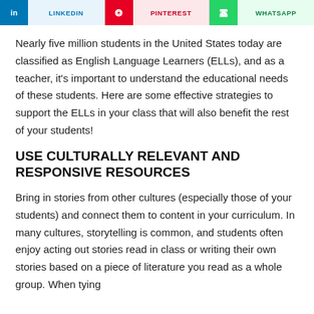LINKEDIN | PINTEREST | WHATSAPP
Nearly five million students in the United States today are classified as English Language Learners (ELLs), and as a teacher, it's important to understand the educational needs of these students. Here are some effective strategies to support the ELLs in your class that will also benefit the rest of your students!
USE CULTURALLY RELEVANT AND RESPONSIVE RESOURCES
Bring in stories from other cultures (especially those of your students) and connect them to content in your curriculum. In many cultures, storytelling is common, and students often enjoy acting out stories read in class or writing their own stories based on a piece of literature you read as a whole group. When tying